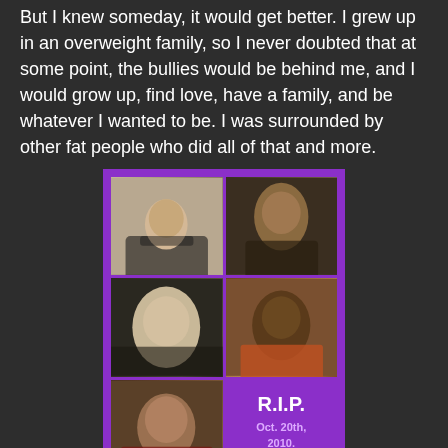But I knew someday, it would get better. I grew up in an overweight family, so I never doubted that at some point, the bullies would be behind me, and I would grow up, find love, have a family, and be whatever I wanted to be.  I was surrounded by other fat people who did all of that and more.
[Figure (photo): A 2x3 collage of six teenage portraits on a purple background, with a R.I.P. Oct. 20th, 2010. Spirit Day label in the bottom-right cell.]
For these six teens – and for the many before, and unfortunately the ones after – bullying killed them.  Each